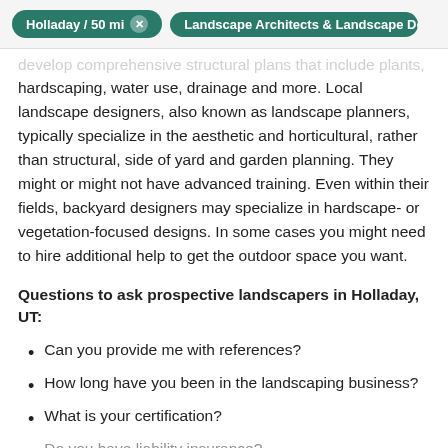Holladay / 50 mi × Landscape Architects & Landscape Desig…
develop comprehensive structural plans that include plants, hardscaping, water use, drainage and more. Local landscape designers, also known as landscape planners, typically specialize in the aesthetic and horticultural, rather than structural, side of yard and garden planning. They might or might not have advanced training. Even within their fields, backyard designers may specialize in hardscape- or vegetation-focused designs. In some cases you might need to hire additional help to get the outdoor space you want.
Questions to ask prospective landscapers in Holladay, UT:
Can you provide me with references?
How long have you been in the landscaping business?
What is your certification?
Do you have liability insurance?